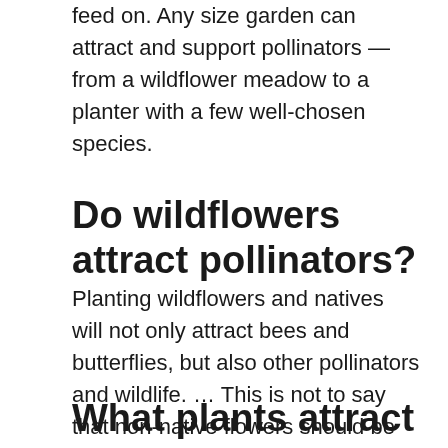feed on. Any size garden can attract and support pollinators — from a wildflower meadow to a planter with a few well-chosen species.
Do wildflowers attract pollinators?
Planting wildflowers and natives will not only attract bees and butterflies, but also other pollinators and wildlife. … This is not to say that non-native flowers should be avoided – indeed, many non-native flowers and plants provide a wonderful amount of nectar and pollen for bees – some are especially helpful.
What plants attract lorikoots?